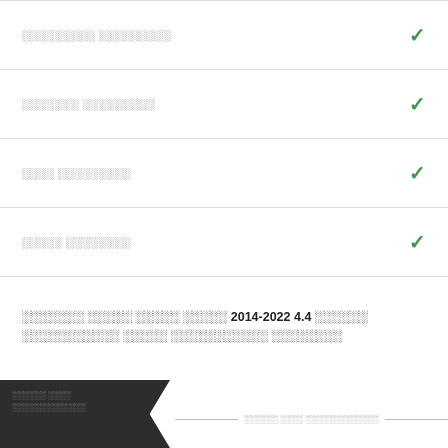░░░░░░░░░ ░░░░░░░░░ ✓
░░░░░░░ ░░░░░░░░░ ✓
░░░░ ░░░░░░░░░ ✓
░░░░░ ░░░░░░░░ ✓
░░░░░░░ ░░░░░ ░░░░░ ░░░░░ 2014-2022 4.4 ░░░░░░ ░░░░░░░░░░░ ░░░░░ ░░░░░░░░░░░ ░░░░░░░░
░░░░░░ ░░░░ ░░░░░░░░░░░░░